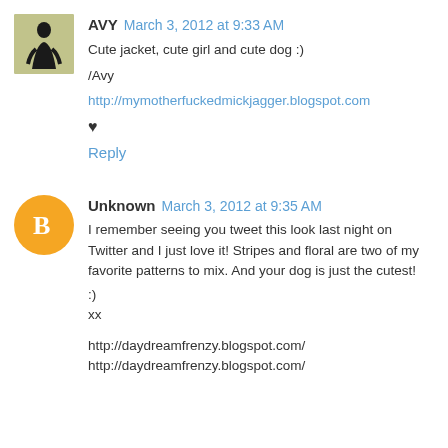[Figure (photo): Small avatar image of a person in a black dress, greenish/yellow tinted photo thumbnail]
AVY March 3, 2012 at 9:33 AM
Cute jacket, cute girl and cute dog :)
/Avy
http://mymotherfuckedmickjagger.blogspot.com
♥
Reply
[Figure (logo): Blogger 'B' logo icon in white on orange circle background]
Unknown March 3, 2012 at 9:35 AM
I remember seeing you tweet this look last night on Twitter and I just love it! Stripes and floral are two of my favorite patterns to mix. And your dog is just the cutest!
:)
xx
http://daydreamfrenzy.blogspot.com/
http://daydreamfrenzy.blogspot.com/